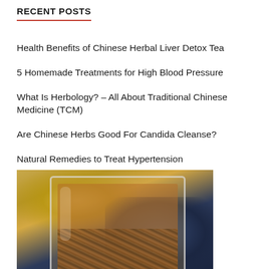RECENT POSTS
Health Benefits of Chinese Herbal Liver Detox Tea
5 Homemade Treatments for High Blood Pressure
What Is Herbology? – All About Traditional Chinese Medicine (TCM)
Are Chinese Herbs Good For Candida Cleanse?
Natural Remedies to Treat Hypertension
[Figure (photo): A glass cup filled with herbal tea and loose herbs, set against a blurred yellow and dark blue background]